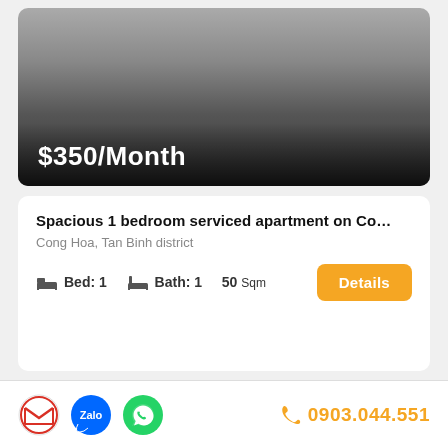[Figure (photo): Apartment listing image with dark gradient overlay]
$350/Month
Spacious 1 bedroom serviced apartment on Co…
Cong Hoa, Tan Binh district
Bed: 1   Bath: 1   50 Sqm
FURNISHED   AVAILABLE
0903.044.551